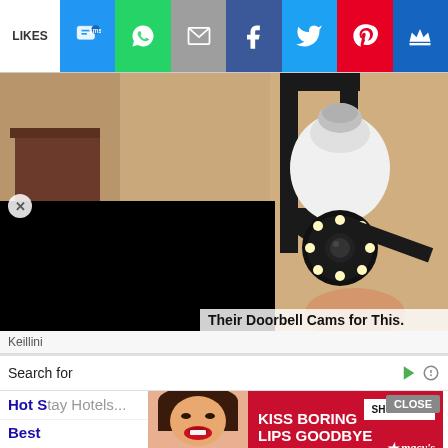[Figure (screenshot): Social share bar with LIKES label and icons: SMS (blue), WhatsApp (green), Email (grey), Facebook (dark blue), Twitter (light blue), Pinterest (red), Crown (dark blue)]
[Figure (photo): Photo of a bulb-socket security camera being screwed into an outdoor wall light fixture, with a black rectangular overlay on lower-left portion]
Their Doorbell Cams for This.
Keillini
Search for
Hot S...
Best
[Figure (screenshot): Macy's advertisement: 'KISS BORING LIPS GOODBYE' in white text on red background with SHOP NOW button and Macy's star logo, with a model's face on the left side]